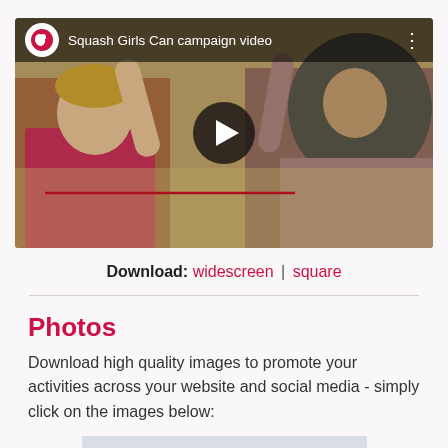[Figure (screenshot): YouTube video thumbnail for 'Squash Girls Can campaign video' showing two women high-fiving on a squash court. One woman wears a pink top and glasses, the other wears a hijab and brown outfit. A dark semi-transparent top bar shows a red/white YouTube logo circle, the video title, and a three-dot menu. A large play button circle is centered on the image.]
Download: widescreen | square
Photos
Download high quality images to promote your activities across your website and social media - simply click on the images below:
[Figure (photo): Partial view of a squash court photo, cropped at the bottom of the page.]